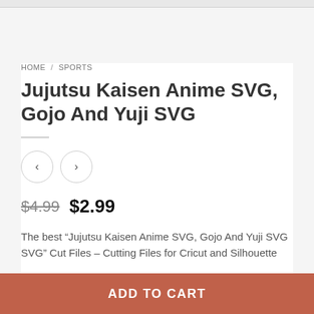HOME / SPORTS
Jujutsu Kaisen Anime SVG, Gojo And Yuji SVG
$4.99  $2.99
The best “Jujutsu Kaisen Anime SVG, Gojo And Yuji SVG SVG” Cut Files – Cutting Files for Cricut and Silhouette
ADD TO CART